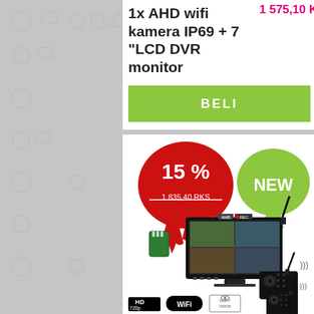1x AHD wifi kamera IP69 + 7 "LCD DVR monitor
1 575,10 KM
BELI
[Figure (photo): Product listing card showing a WiFi AHD camera system with 7-inch LCD DVR monitor. Red drip bubble with '15 %' and strikethrough price '1 835,40 RKS'. Green bubble with 'NEW'. Product photo shows monitor displaying 4-channel view of construction equipment, with two wireless cameras. Badges at bottom: HD 720p, WiFi, Night Vision.]
15 %
1 835,40 RKS
NEW